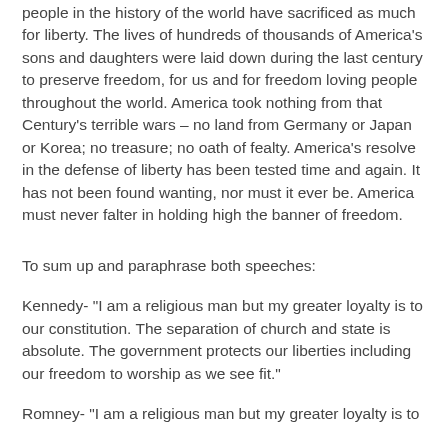people in the history of the world have sacrificed as much for liberty. The lives of hundreds of thousands of America's sons and daughters were laid down during the last century to preserve freedom, for us and for freedom loving people throughout the world. America took nothing from that Century's terrible wars – no land from Germany or Japan or Korea; no treasure; no oath of fealty. America's resolve in the defense of liberty has been tested time and again. It has not been found wanting, nor must it ever be. America must never falter in holding high the banner of freedom.
To sum up and paraphrase both speeches:
Kennedy- "I am a religious man but my greater loyalty is to our constitution. The separation of church and state is absolute. The government protects our liberties including our freedom to worship as we see fit."
Romney- "I am a religious man but my greater loyalty is to...